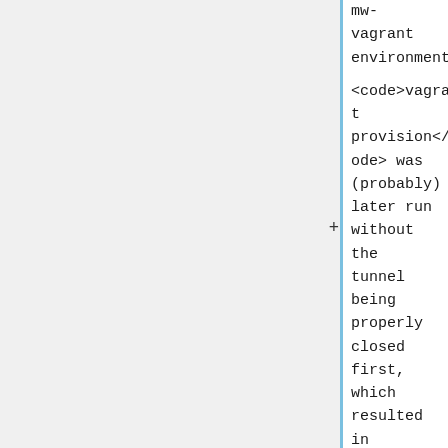mw-vagrant environment.

<code>vagrant provision</code> was (probably) later run without the tunnel being properly closed first, which resulted in (for reasons not yet understood) the